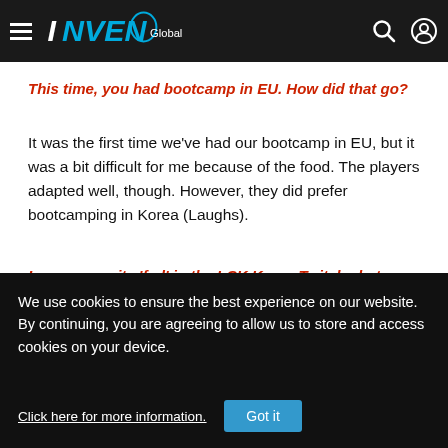INVEN Global
This time, you had bootcamp in EU. How did that go?
It was the first time we've had our bootcamp in EU, but it was a bit difficult for me because of the food. The players adapted well, though. However, they did prefer bootcamping in Korea (Laughs).
I saw you write 'fml' in the LCK Korea Twitch chat when C9 was assigned to Group A.
We use cookies to ensure the best experience on our website. By continuing, you are agreeing to allow us to store and access cookies on your device. Click here for more information.